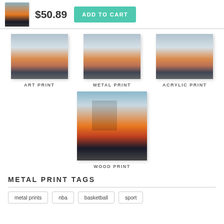[Figure (photo): Small thumbnail of basketball player in Utah jersey]
$50.89
ADD TO CART
[Figure (photo): Art print thumbnail of basketball player]
ART PRINT
[Figure (photo): Metal print thumbnail of basketball player]
METAL PRINT
[Figure (photo): Acrylic print thumbnail of basketball player]
ACRYLIC PRINT
[Figure (photo): Wood print thumbnail of basketball player in Utah jersey #10]
WOOD PRINT
METAL PRINT TAGS
metal prints
nba
basketball
sport